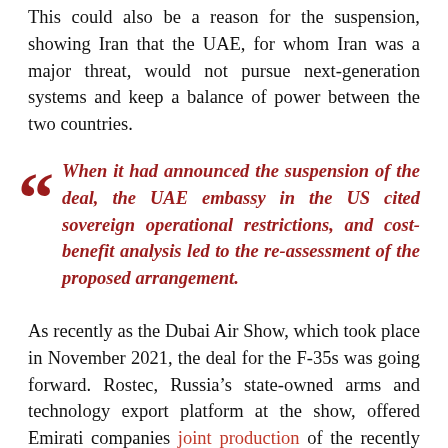This could also be a reason for the suspension, showing Iran that the UAE, for whom Iran was a major threat, would not pursue next-generation systems and keep a balance of power between the two countries.
When it had announced the suspension of the deal, the UAE embassy in the US cited sovereign operational restrictions, and cost-benefit analysis led to the re-assessment of the proposed arrangement.
As recently as the Dubai Air Show, which took place in November 2021, the deal for the F-35s was going forward. Rostec, Russia's state-owned arms and technology export platform at the show, offered Emirati companies joint production of the recently launched Sukhoi SU-75. This was also the